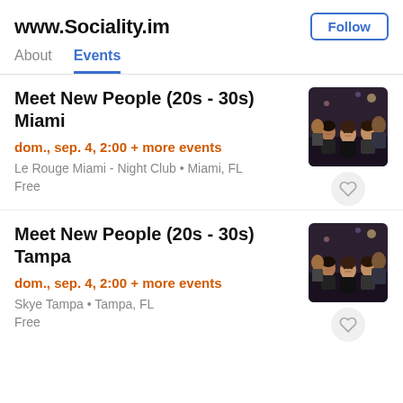www.Sociality.im
About  Events
Meet New People (20s - 30s) Miami
dom., sep. 4, 2:00 + more events
Le Rouge Miami - Night Club • Miami, FL
Free
[Figure (photo): Group photo of young people at a nightclub]
Meet New People (20s - 30s) Tampa
dom., sep. 4, 2:00 + more events
Skye Tampa • Tampa, FL
Free
[Figure (photo): Group photo of young people at a nightclub]